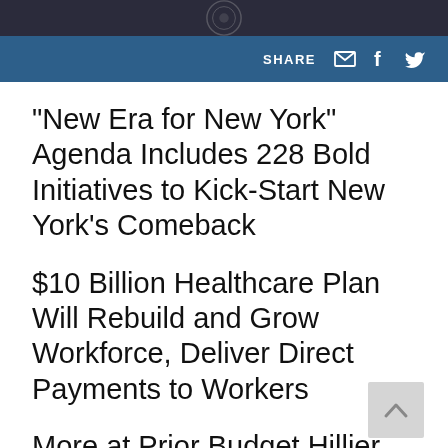SHARE
"New Era for New York" Agenda Includes 228 Bold Initiatives to Kick-Start New York's Comeback
$10 Billion Healthcare Plan Will Rebuild and Grow Workforce, Deliver Direct Payments to Workers
More at Prime Budget Hilliness...